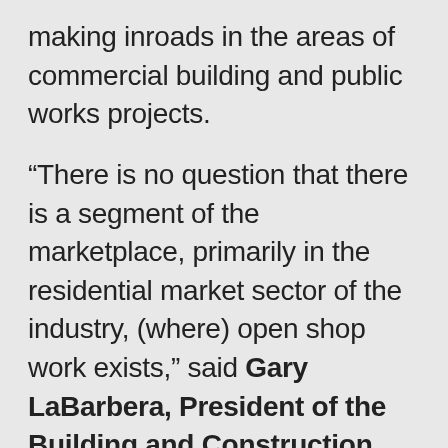making inroads in the areas of commercial building and public works projects.
“There is no question that there is a segment of the marketplace, primarily in the residential market sector of the industry, (where) open shop work exists,” said Gary LaBarbera, President of the Building and Construction Trades Council of Greater New York. “The trades are making significant adjustments for residential work. The trades are making substantive efforts to become more